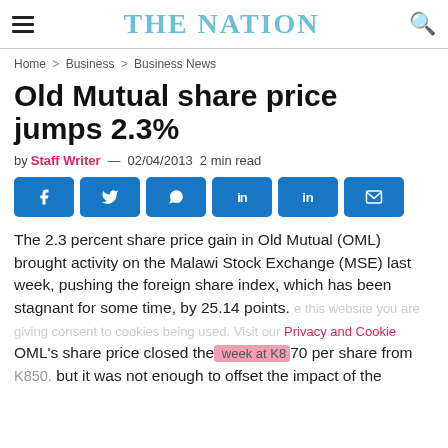THE NATION
Home > Business > Business News
Old Mutual share price jumps 2.3%
by Staff Writer — 02/04/2013  2 min read
[Figure (other): Social media sharing buttons: Facebook, Twitter, WhatsApp, LinkedIn, LinkedIn, Email]
The 2.3 percent share price gain in Old Mutual (OML) brought activity on the Malawi Stock Exchange (MSE) last week, pushing the foreign share index, which has been stagnant for some time, by 25.14 points. OML's share price closed the week at K870 per share from K850, but it was not enough to offset the impact of the